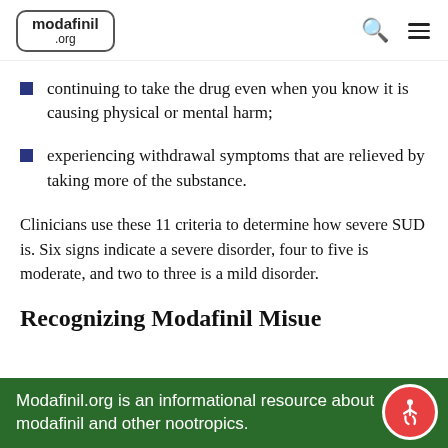modafinil .org
continuing to take the drug even when you know it is causing physical or mental harm;
experiencing withdrawal symptoms that are relieved by taking more of the substance.
Clinicians use these 11 criteria to determine how severe SUD is. Six signs indicate a severe disorder, four to five is moderate, and two to three is a mild disorder.
Recognizing Modafinil Misuse
Modafinil.org is an informational resource about modafinil and other nootropics.